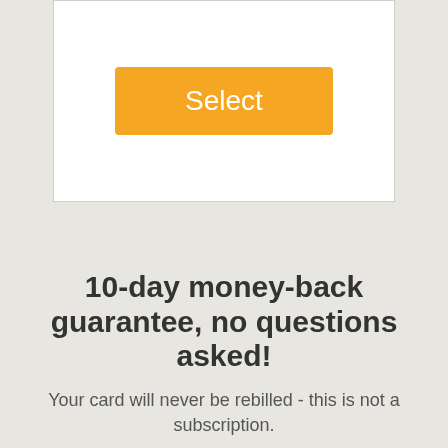[Figure (screenshot): White card area with an orange 'Select' button centered inside it, on a light gray background]
10-day money-back guarantee, no questions asked!
Your card will never be rebilled - this is not a subscription.
[Figure (illustration): Green outlined padlock icon with a downward arrow, labeled SECURE PAYMENT]